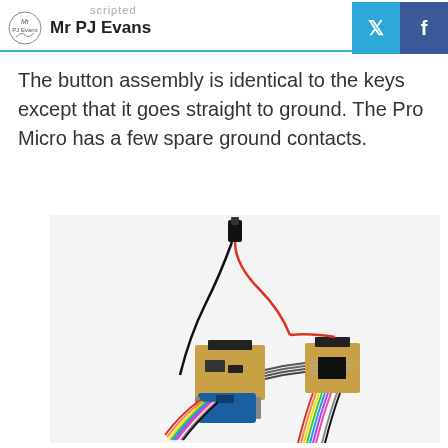Mr PJ Evans
The button assembly is identical to the keys except that it goes straight to ground. The Pro Micro has a few spare ground contacts.
[Figure (photo): Photo of electronic components including a Pro Micro microcontroller board, PCB modules with pin headers, a button/jack connector, and colorful wiring harnesses connected together on a white background.]